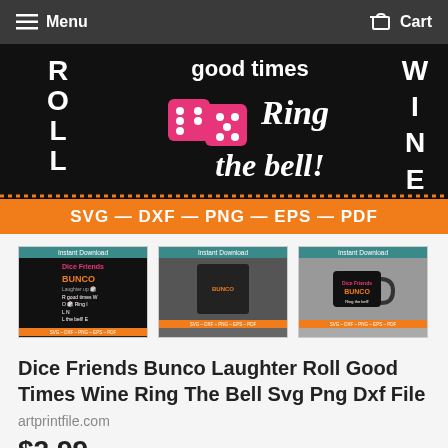Menu   Cart
[Figure (illustration): Product design showing 'Roll good times Wine Ring the bell!' text art with pink dice on black background, followed by orange format bar reading SVG — DXF — PNG — EPS — PDF]
[Figure (photo): Three product thumbnail previews: black design card, t-shirt mockup, and mug mockup, each with 'Instant Download' teal header and orange SVG/DXF/PNG/EPS/PDF footer]
Dice Friends Bunco Laughter Roll Good Times Wine Ring The Bell Svg Png Dxf File
artprintfile.com
$2.99